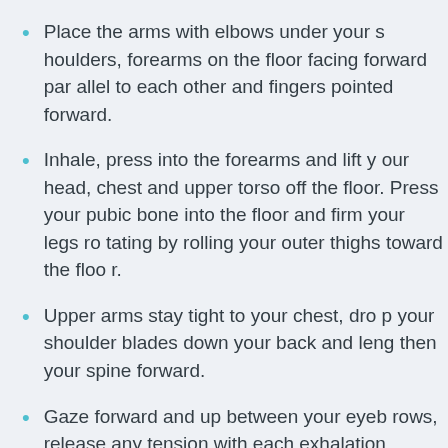Place the arms with elbows under your shoulders, forearms on the floor facing forward parallel to each other and fingers pointed forward.
Inhale, press into the forearms and lift your head, chest and upper torso off the floor. Press your pubic bone into the floor and firm your legs rotating by rolling your outer thighs toward the floor.
Upper arms stay tight to your chest, drop your shoulder blades down your back and lengthen your spine forward.
Gaze forward and up between your eyebrows, release any tension with each exhalation.
Hold for 10 seconds or longer, repeat twice if comfortable to do so.